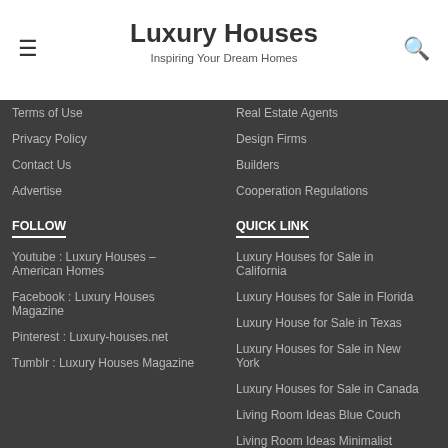Luxury Houses — Inspiring Your Dream Homes
Terms of Use
Privacy Policy
Contact Us
Advertise
FOLLOW
Youtube : Luxury Houses – American Homes
Facebook : Luxury Houses Magazine
Pinterest : Luxury-houses.net
Tumblr : Luxury Houses Magazine
Real Estate Agents
Design Firms
Builders
Cooperation Regulations
QUICK LINK
Luxury Houses for Sale in California
Luxury Houses for Sale in Florida
Luxury House for Sale in Texas
Luxury Houses for Sale in New York
Luxury Houses for Sale in Canada
Living Room Ideas Blue Couch
Living Room Ideas Minimalist
Living Room Ideas Curtains